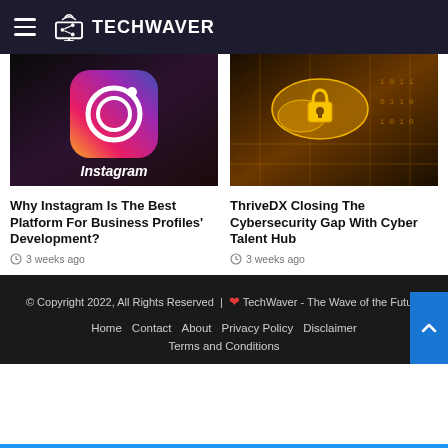TECHWAVER
[Figure (photo): Instagram app icon on dark background with purple gradient]
Why Instagram Is The Best Platform For Business Profiles' Development?
3 weeks ago
[Figure (photo): Gold/amber cybersecurity concept image with lock icon and circuit board binary code]
ThriveDX Closing The Cybersecurity Gap With Cyber Talent Hub
3 weeks ago
© Copyright 2022, All Rights Reserved | ❤ TechWaver - The Wave of the Future
Home   Contact   About   Privacy Policy   Disclaimer
Terms and Conditions